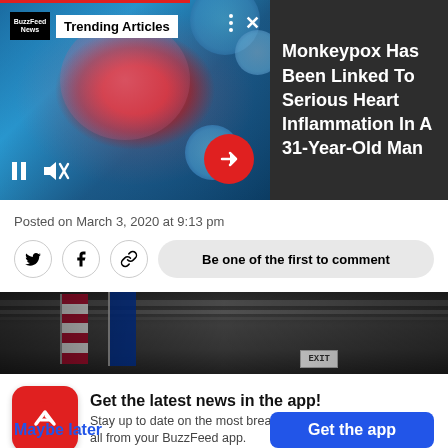[Figure (screenshot): BuzzFeed News Trending Articles video panel showing anatomical heart illustration with blue viral cells on blue background, with pause and mute controls, and a red arrow button]
Monkeypox Has Been Linked To Serious Heart Inflammation In A 31-Year-Old Man
Posted on March 3, 2020 at 9:13 pm
[Figure (screenshot): Social sharing bar with Twitter, Facebook, and link icons, and a 'Be one of the first to comment' button]
[Figure (photo): Dark indoor scene with American and EU flags hanging from ceiling with pipes and an EXIT sign]
Get the latest news in the app!
Stay up to date on the most breaking news, all from your BuzzFeed app.
Maybe later
Get the app